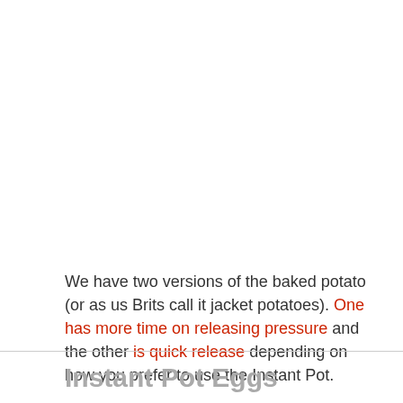We have two versions of the baked potato (or as us Brits call it jacket potatoes). One has more time on releasing pressure and the other is quick release depending on how you prefer to use the Instant Pot.
Instant Pot Eggs